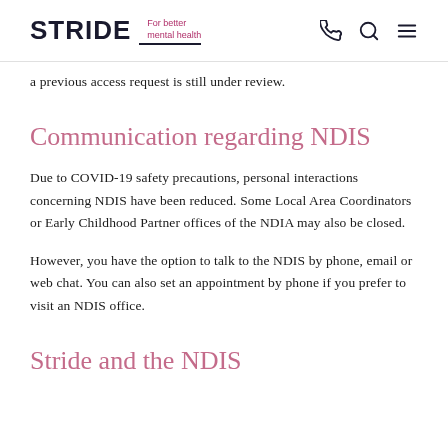STRIDE For better mental health
a previous access request is still under review.
Communication regarding NDIS
Due to COVID-19 safety precautions, personal interactions concerning NDIS have been reduced. Some Local Area Coordinators or Early Childhood Partner offices of the NDIA may also be closed.
However, you have the option to talk to the NDIS by phone, email or web chat. You can also set an appointment by phone if you prefer to visit an NDIS office.
Stride and the NDIS